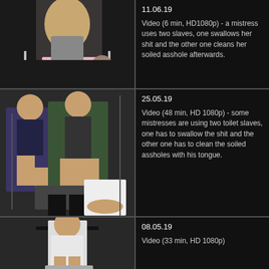[Figure (photo): Thumbnail image of a person from behind over a glass chair with another person in background]
11.06.19

Video (6 min, HD1080p) - a mistress uses two slaves, one swallows her shit and the other one cleans her soiled asshole afterwards.
[Figure (photo): Thumbnail image of two women in a room with a person lying on a table]
25.05.19

Video (48 min, HD 1080p) - some mistresses are using two toilet slaves, one has to swallow the shit and the other one has to clean the soiled assholes with his tongue.
[Figure (photo): Thumbnail image of a woman with long dark hair sitting on a chair]
08.05.19

Video (33 min, HD 1080p)